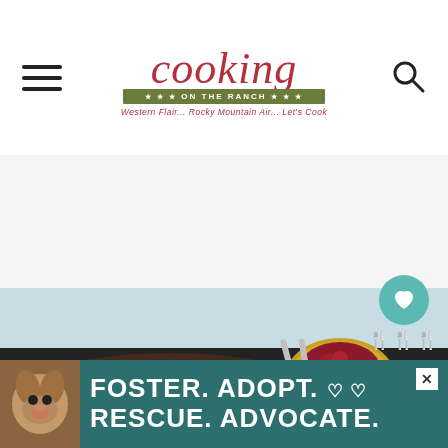cooking on the ranch — Western Flair... Rocky Mountain Air... Let's Cook
[Figure (photo): Food photo showing grilled steak and cranberry relish in a yellow dish on a dark pan, with a light blue background]
[Figure (infographic): Save widget with teal heart button, fork icon, count 349, and share button]
[Figure (photo): Advertisement banner: FOSTER. ADOPT. RESCUE. ADVOCATE. with a dog photo on teal background]